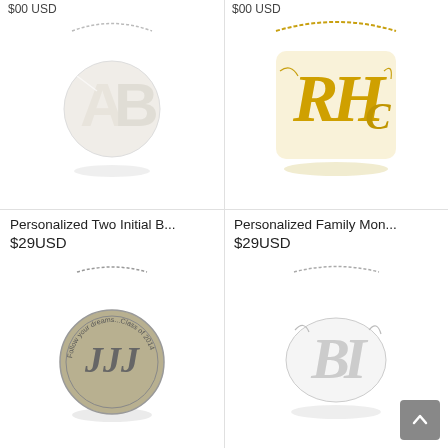$00 USD
$00 USD
[Figure (photo): Silver two-initial block letter monogram necklace pendant (AB) on a silver chain]
[Figure (photo): Gold family monogram necklace in ornate script (RHC initials) on a gold chain]
Personalized Two Initial B...
$29USD
Personalized Family Mon...
$29USD
[Figure (photo): Silver circular disc monogram necklace with engraved initials and text 'Follow your dreams...Class of 2014']
[Figure (photo): Silver ornate script monogram necklace pendant on a silver chain]